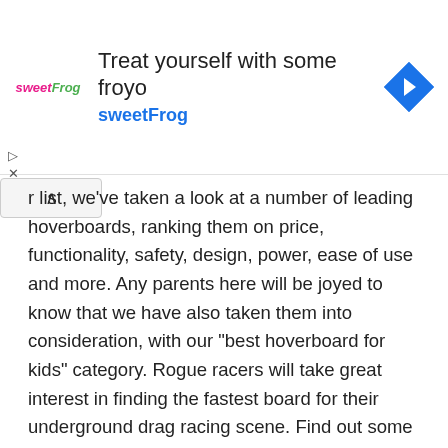[Figure (other): Advertisement banner for sweetFrog frozen yogurt. Shows sweetFrog logo on left, headline 'Treat yourself with some froyo' and 'sweetFrog' in blue, with a blue diamond navigation icon on the right.]
r list, we've taken a look at a number of leading hoverboards, ranking them on price, functionality, safety, design, power, ease of use and more. Any parents here will be joyed to know that we have also taken them into consideration, with our “best hoverboard for kids” category. Rogue racers will take great interest in finding the fastest board for their underground drag racing scene. Find out some of the fastest hoverboards and more, all down below. Take your time looking through our list, and find your best hoverboard of 2021.
Best Hoverboard for Adults
There are number of things to consider when seeking the